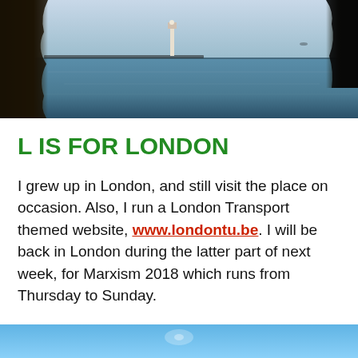[Figure (photo): Coastal scene with sea, lighthouse in distance, dark tree trunk on left, dark branch on right, blue water and sky]
L IS FOR LONDON
I grew up in London, and still visit the place on occasion. Also, I run a London Transport themed website, www.londontu.be. I will be back in London during the latter part of next week, for Marxism 2018 which runs from Thursday to Sunday.
[Figure (photo): Partial photo at bottom of page showing blue sky/water scene]